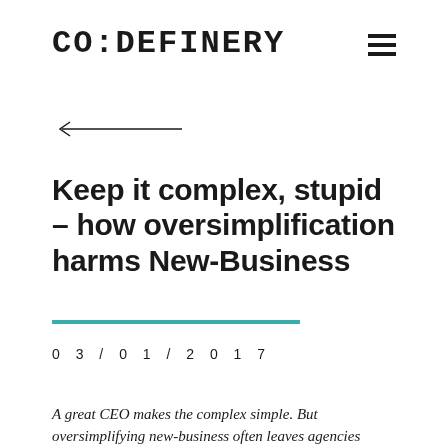CODEFINERY
[Figure (other): Back arrow navigation element]
Keep it complex, stupid – how oversimplification harms New-Business
03/01/2017
A great CEO makes the complex simple. But oversimplifying new-business often leaves agencies